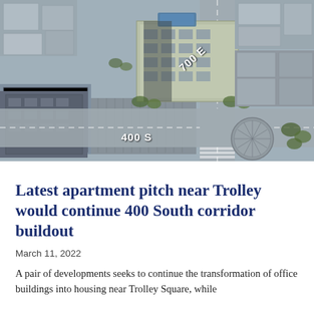[Figure (photo): Aerial view of a city intersection showing 700 E and 400 S streets in Salt Lake City near Trolley Square, with a rendered apartment building development shown in color amidst the existing urban fabric]
Latest apartment pitch near Trolley would continue 400 South corridor buildout
March 11, 2022
A pair of developments seeks to continue the transformation of office buildings into housing near Trolley Square, while